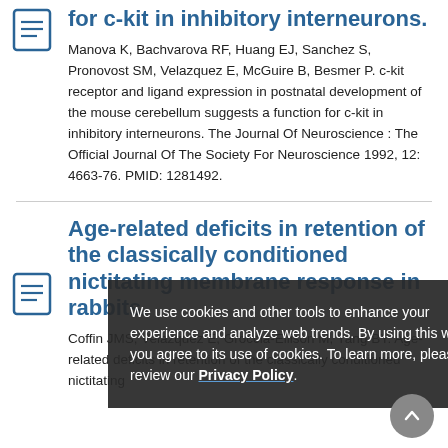for c-kit in inhibitory interneurons.
Manova K, Bachvarova RF, Huang EJ, Sanchez S, Pronovost SM, Velazquez E, McGuire B, Besmer P. c-kit receptor and ligand expression in postnatal development of the mouse cerebellum suggests a function for c-kit in inhibitory interneurons. The Journal Of Neuroscience : The Official Journal Of The Society For Neuroscience 1992, 12: 4663-76. PMID: 1281492.
Age-related deficits in retention of the classically conditioned nictitating membrane response in rabbits.
Coffin JMS, Velazquez E, Groccia-Ellison M, Yang BY. Age-related deficits in retention of the classically conditioned nictitating